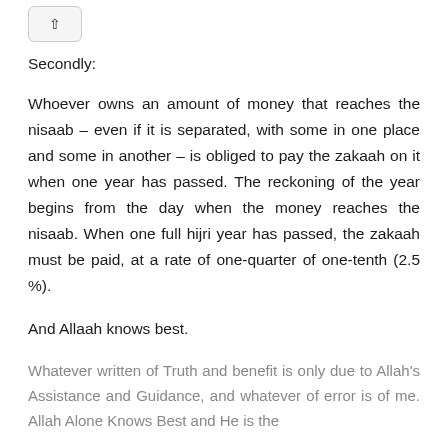Secondly:
Whoever owns an amount of money that reaches the nisaab – even if it is separated, with some in one place and some in another – is obliged to pay the zakaah on it when one year has passed. The reckoning of the year begins from the day when the money reaches the nisaab. When one full hijri year has passed, the zakaah must be paid, at a rate of one-quarter of one-tenth (2.5 %).
And Allaah knows best.
Whatever written of Truth and benefit is only due to Allah's Assistance and Guidance, and whatever of error is of me. Allah Alone Knows Best and He is the